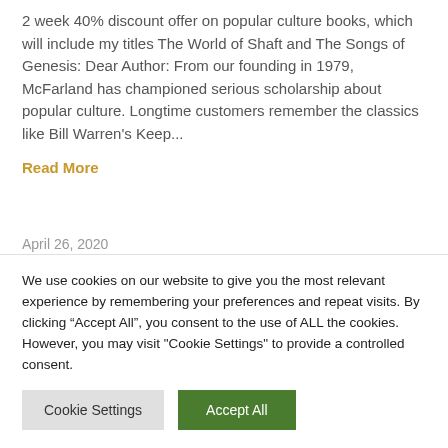2 week 40% discount offer on popular culture books, which will include my titles The World of Shaft and The Songs of Genesis: Dear Author: From our founding in 1979, McFarland has championed serious scholarship about popular culture. Longtime customers remember the classics like Bill Warren's Keep...
Read More
April 26, 2020
We use cookies on our website to give you the most relevant experience by remembering your preferences and repeat visits. By clicking “Accept All”, you consent to the use of ALL the cookies. However, you may visit "Cookie Settings" to provide a controlled consent.
Cookie Settings
Accept All